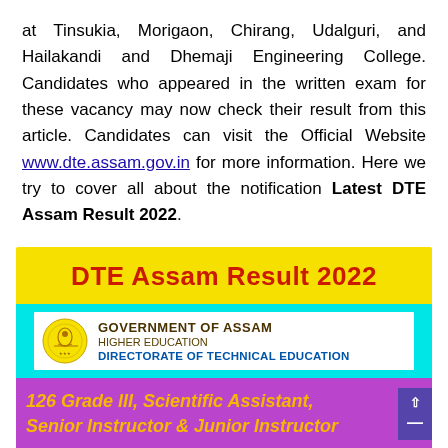at Tinsukia, Morigaon, Chirang, Udalguri, and Hailakandi and Dhemaji Engineering College. Candidates who appeared in the written exam for these vacancy may now check their result from this article. Candidates can visit the Official Website www.dte.assam.gov.in for more information. Here we try to cover all about the notification Latest DTE Assam Result 2022.
[Figure (infographic): DTE Assam Result 2022 banner showing Government of Assam Directorate of Technical Education logo and text about 126 Grade III, Scientific Assistant, Senior Instructor & Junior Instructor]